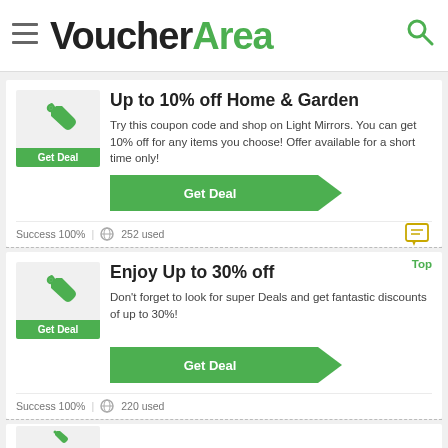VoucherArea
Up to 10% off Home & Garden
Try this coupon code and shop on Light Mirrors. You can get 10% off for any items you choose! Offer available for a short time only!
Get Deal
Success 100%  |  252 used
Enjoy Up to 30% off
Don't forget to look for super Deals and get fantastic discounts of up to 30%!
Get Deal
Success 100%  |  220 used